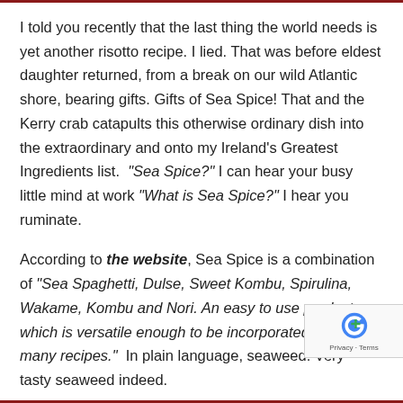I told you recently that the last thing the world needs is yet another risotto recipe. I lied. That was before eldest daughter returned, from a break on our wild Atlantic shore, bearing gifts. Gifts of Sea Spice! That and the Kerry crab catapults this otherwise ordinary dish into the extraordinary and onto my Ireland's Greatest Ingredients list. "Sea Spice?" I can hear your busy little mind at work "What is Sea Spice?" I hear you ruminate.
According to the website, Sea Spice is a combination of "Sea Spaghetti, Dulse, Sweet Kombu, Spirulina, Wakame, Kombu and Nori. An easy to use product which is versatile enough to be incorporated into many recipes." In plain language, seaweed. Very tasty seaweed indeed.